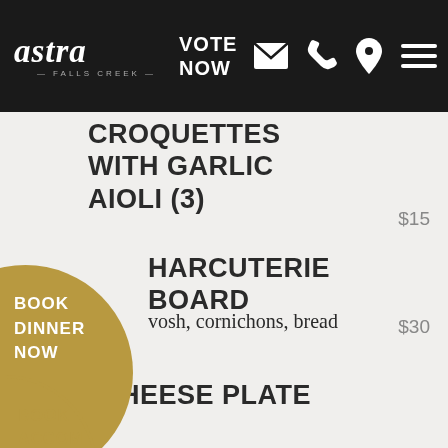astra FALLS CREEK — VOTE NOW
CROQUETTES WITH GARLIC AIOLI (3)
$15
CHARCUTERIE BOARD
vosh, cornichons, bread
$30
CHEESE PLATE
BOOK DINNER NOW
BOOK ACCOM